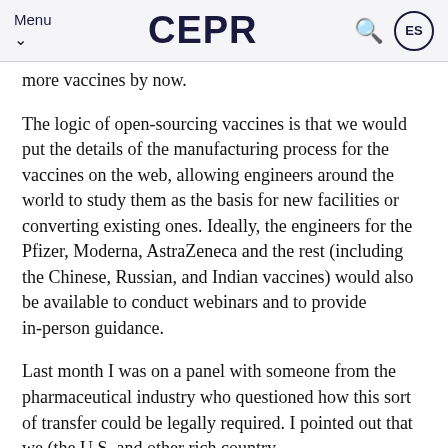Menu CEPR ES
more vaccines by now.
The logic of open-sourcing vaccines is that we would put the details of the manufacturing process for the vaccines on the web, allowing engineers around the world to study them as the basis for new facilities or converting existing ones. Ideally, the engineers for the Pfizer, Moderna, AstraZeneca and the rest (including the Chinese, Russian, and Indian vaccines) would also be available to conduct webinars and to provide in-person guidance.
Last month I was on a panel with someone from the pharmaceutical industry who questioned how this sort of transfer could be legally required. I pointed out that we (the U.S. and other rich country